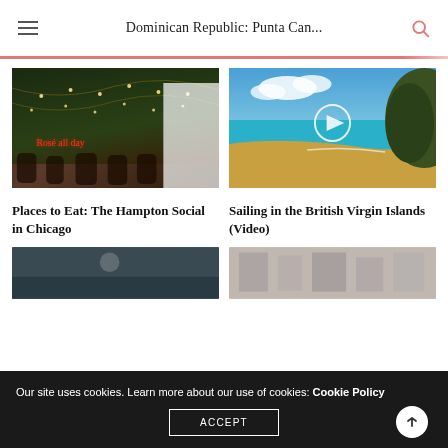Dominican Republic: Punta Can...
[Figure (photo): Interior of The Hampton Social restaurant in Chicago with string lights and a neon sign reading 'Rosé all day']
Places to Eat: The Hampton Social in Chicago
[Figure (photo): Tropical beach scene in the British Virgin Islands with turquoise water, sandy beach, and green hills, with a video play button overlay]
Sailing in the British Virgin Islands (Video)
[Figure (photo): Partially visible bottom-left image]
[Figure (photo): Partially visible bottom-right image]
Our site uses cookies. Learn more about our use of cookies: Cookie Policy
ACCEPT